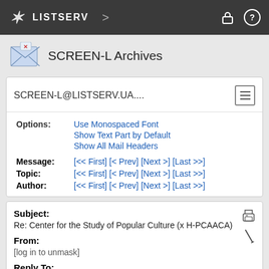LISTSERV
SCREEN-L Archives
SCREEN-L@LISTSERV.UA....
Options: Use Monospaced Font
Show Text Part by Default
Show All Mail Headers
Message: [<< First] [< Prev] [Next >] [Last >>]
Topic: [<< First] [< Prev] [Next >] [Last >>]
Author: [<< First] [< Prev] [Next >] [Last >>]
Subject:
Re: Center for the Study of Popular Culture (x H-PCAACA)
From:
[log in to unmask]
Reply To:
Film and TV Studies Discussion List <[log in to